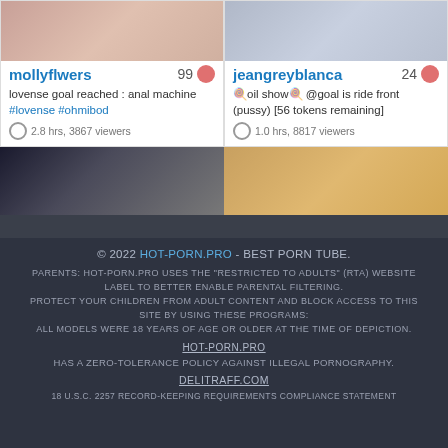[Figure (screenshot): Webcam thumbnail for mollyflwers]
mollyflwers 99
lovense goal reached : anal machine #lovense #ohmibod
2.8 hrs, 3867 viewers
[Figure (screenshot): Webcam thumbnail for jeangreyblanca]
jeangreyblanca 24
oil show @goal is ride front (pussy) [56 tokens remaining]
1.0 hrs, 8817 viewers
[Figure (screenshot): Bottom left webcam thumbnail]
[Figure (screenshot): Bottom right webcam thumbnail]
© 2022 HOT-PORN.PRO - BEST PORN TUBE.
PARENTS: HOT-PORN.PRO USES THE "RESTRICTED TO ADULTS" (RTA) WEBSITE LABEL TO BETTER ENABLE PARENTAL FILTERING.
PROTECT YOUR CHILDREN FROM ADULT CONTENT AND BLOCK ACCESS TO THIS SITE BY USING THESE PROGRAMS:
ALL MODELS WERE 18 YEARS OF AGE OR OLDER AT THE TIME OF DEPICTION.
HOT-PORN.PRO
HAS A ZERO-TOLERANCE POLICY AGAINST ILLEGAL PORNOGRAPHY.
DELITRAFF.COM
18 U.S.C. 2257 RECORD-KEEPING REQUIREMENTS COMPLIANCE STATEMENT